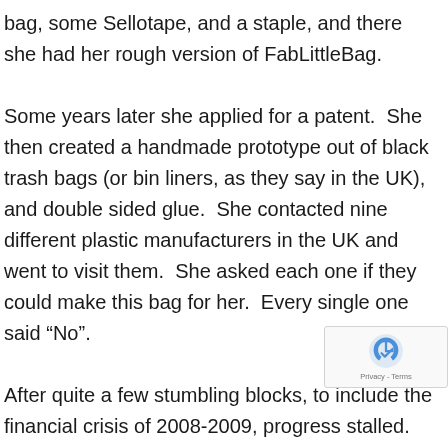bag, some Sellotape, and a staple, and there she had her rough version of FabLittleBag.

Some years later she applied for a patent.  She then created a handmade prototype out of black trash bags (or bin liners, as they say in the UK), and double sided glue.  She contacted nine different plastic manufacturers in the UK and went to visit them.  She asked each one if they could make this bag for her.  Every single one said “No”.

After quite a few stumbling blocks, to include the financial crisis of 2008-2009, progress stalled.  Eventually, after seven years, her patent was granted.  This pushed into the challenge of finding a manufacturer.  She visited